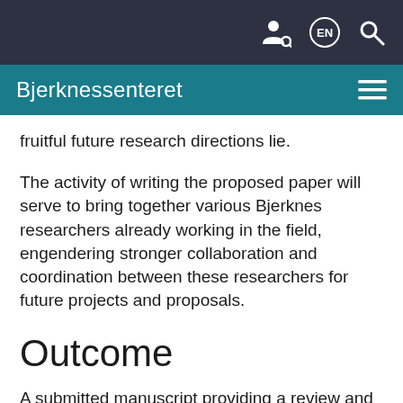Bjerknessenteret
fruitful future research directions lie.
The activity of writing the proposed paper will serve to bring together various Bjerknes researchers already working in the field, engendering stronger collaboration and coordination between these researchers for future projects and proposals.
Outcome
A submitted manuscript providing a review and synthesis of a decade's worth of research, both in the Bjerknes Center and the wider scientific